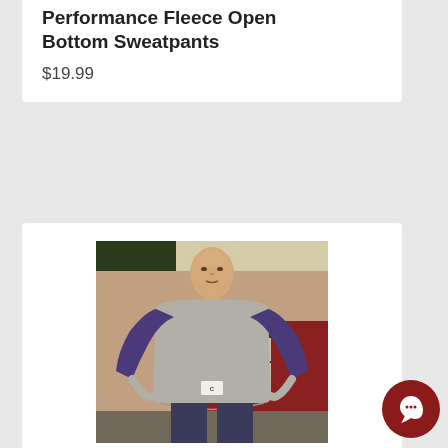Performance Fleece Open Bottom Sweatpants
$19.99
[Figure (photo): Man wearing a gray and purple three-quarter raglan sleeve baseball t-shirt, standing outdoors in front of a red barn-style building]
Three Quarter Raglan Sleeve Baseball T Shirt
$7.92